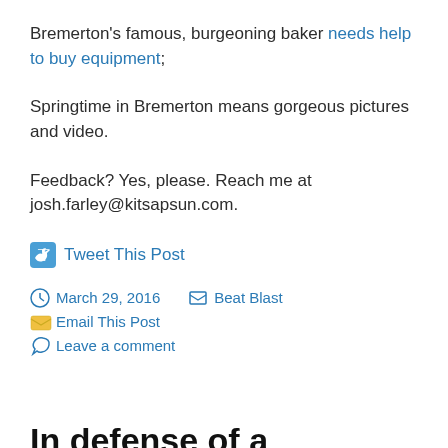Bremerton's famous, burgeoning baker needs help to buy equipment;
Springtime in Bremerton means gorgeous pictures and video.
Feedback? Yes, please. Reach me at josh.farley@kitsapsun.com.
Tweet This Post
March 29, 2016   Beat Blast
Email This Post
Leave a comment
In defense of a bathroom ribbon